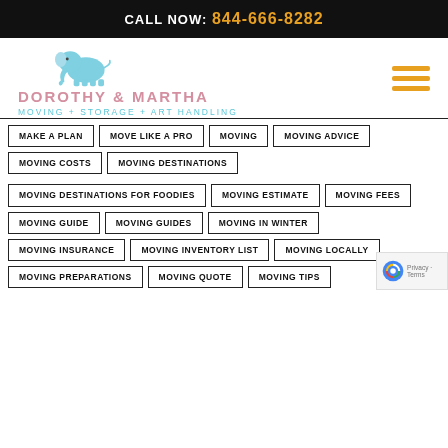CALL NOW: 844-666-8282
[Figure (logo): Dorothy & Martha Moving + Storage + Art Handling logo with blue elephant illustration]
MAKE A PLAN
MOVE LIKE A PRO
MOVING
MOVING ADVICE
MOVING COSTS
MOVING DESTINATIONS
MOVING DESTINATIONS FOR FOODIES
MOVING ESTIMATE
MOVING FEES
MOVING GUIDE
MOVING GUIDES
MOVING IN WINTER
MOVING INSURANCE
MOVING INVENTORY LIST
MOVING LOCALLY
MOVING PREPARATIONS
MOVING QUOTE
MOVING TIPS